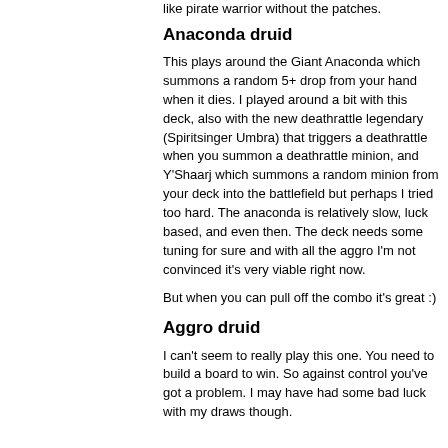like pirate warrior without the patches.
Anaconda druid
This plays around the Giant Anaconda which summons a random 5+ drop from your hand when it dies. I played around a bit with this deck, also with the new deathrattle legendary (Spiritsinger Umbra) that triggers a deathrattle when you summon a deathrattle minion, and Y'Shaarj which summons a random minion from your deck into the battlefield but perhaps I tried too hard. The anaconda is relatively slow, luck based, and even then. The deck needs some tuning for sure and with all the aggro I'm not convinced it's very viable right now.
But when you can pull off the combo it's great :)
Aggro druid
I can't seem to really play this one. You need to build a board to win. So against control you've got a problem. I may have had some bad luck with my draws though.